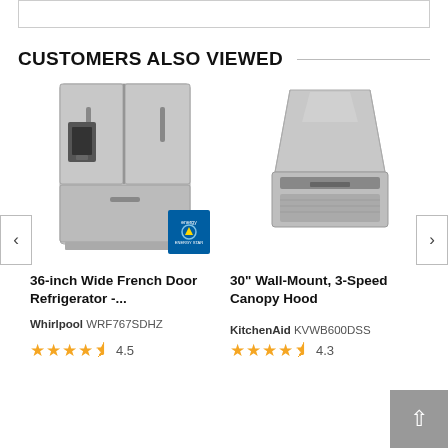CUSTOMERS ALSO VIEWED
[Figure (photo): Stainless steel French door refrigerator with bottom freezer and water/ice dispenser, with Energy Star badge]
36-inch Wide French Door Refrigerator -...
Whirlpool WRF767SDHZ
★★★★☆ 4.5
[Figure (photo): Stainless steel 30-inch wall-mount canopy range hood]
30" Wall-Mount, 3-Speed Canopy Hood
KitchenAid KVWB600DSS
★★★★☆ 4.3